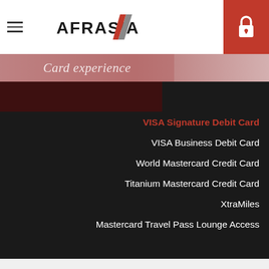AFRASIA
Card experience
VISA Signature Debit Card
VISA Business Debit Card
World Mastercard Credit Card
Titanium Mastercard Credit Card
XtraMiles
Mastercard Travel Pass Lounge Access
AfrAsia Bank uses cookies to improve your user experience. By continuing on this website without changing your settings, you will be providing us with your consent to receive all cookies. For more information, please visit our privacy policy and cookie policy.